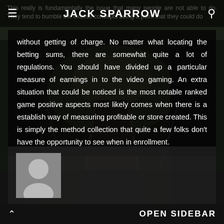JACK SPARROW
This really is fundamentally the issue that many people are not able to do. They tend to bumble the excess concepts being a point that they could do without getting of charge. No matter what locating the betting sums, there are somewhat quite a lot of regulations. You should have divided up a particular measure of earnings in to the video gaming. An extra situation that could be noticed is the most notable ranked game positive aspects most likely comes when there is a establish way of measuring profitable or store created. This is simply the method collection that quite a few folks don't have the opportunity to see when in enrollment.
[Figure (photo): Dark background photo of a wooden suspension bridge or railway bridge viewed from perspective angle, with chains/fencing on sides, leading into foggy distance with trees]
OPEN SIDEBAR